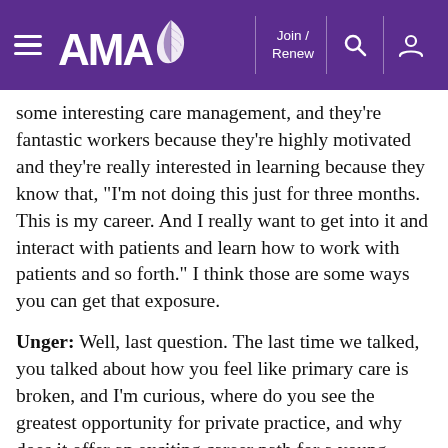AMA — Join / Renew
some interesting care management, and they're fantastic workers because they're highly motivated and they're really interested in learning because they know that, "I'm not doing this just for three months. This is my career. And I really want to get into it and interact with patients and learn how to work with patients and so forth." I think those are some ways you can get that exposure.
Unger: Well, last question. The last time we talked, you talked about how you feel like primary care is broken, and I'm curious, where do you see the greatest opportunity for private practice, and why does it offer an exciting career path for a young